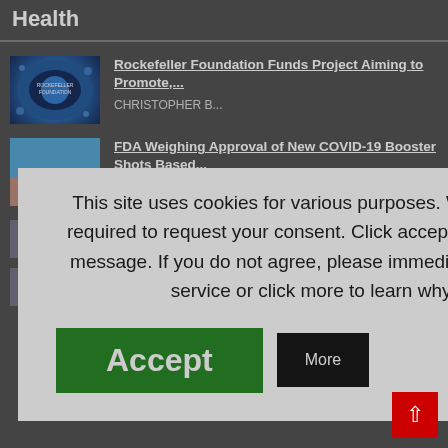Health
Rockefeller Foundation Funds Project Aiming to Promote,... CHRISTOPHER B...
FDA Weighing Approval of New COVID-19 Booster Shots Based...
...ore Than a Fall
...on and Speech
This site uses cookies for various purposes. We're legally required to request your consent. Click accept to close this message. If you do not agree, please immediately exit the service or click more to learn why.
Accept
More